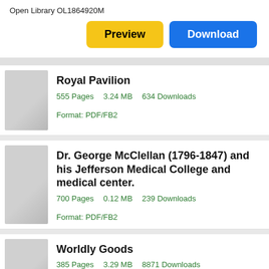Open Library OL1864920M
Preview | Download
Royal Pavilion — 555 Pages, 3.24 MB, 634 Downloads, Format: PDF/FB2
Dr. George McClellan (1796-1847) and his Jefferson Medical College and medical center. — 700 Pages, 0.12 MB, 239 Downloads, Format: PDF/FB2
Worldly Goods — 385 Pages, 3.29 MB, 8871 Downloads, Format: PDF/FB2